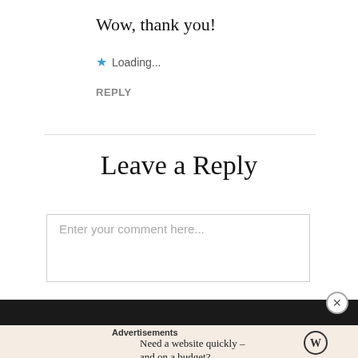Wow, thank you!
★ Loading...
REPLY
Leave a Reply
Enter your comment here...
Advertisements
Need a website quickly – and on a budget?